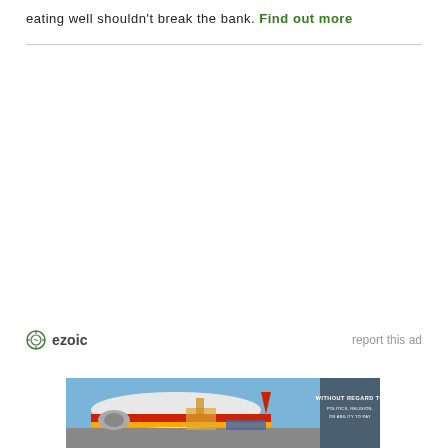eating well shouldn't break the bank. Find out more
[Figure (screenshot): Ezoic ad placeholder area with ezoic logo and 'report this ad' link]
[Figure (photo): Advertisement showing cargo being loaded onto an airplane with text overlay 'WITHOUT REGARD TO POLITICS, RELIGION, OR ABILITY TO PAY']